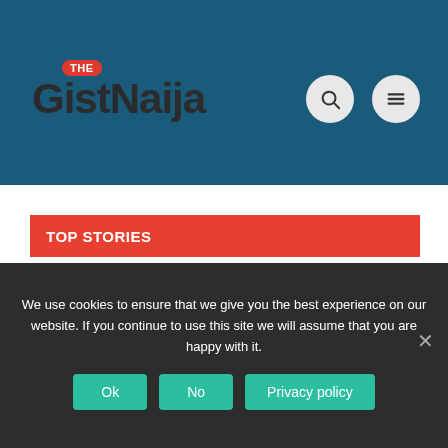[Figure (logo): TheGistNaija website logo with 'THE' in red pill badge above 'GistNaija' in dark text on blue header background]
TOP STORIES
[Figure (photo): Two side-by-side image thumbnails under Top Stories section]
We use cookies to ensure that we give you the best experience on our website. If you continue to use this site we will assume that you are happy with it.
Ok  No  Privacy policy